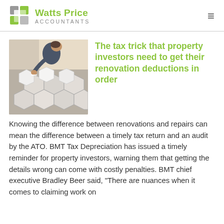Watts Price Accountants
[Figure (photo): Person installing hexagonal tiles on a floor, viewed from above.]
The tax trick that property investors need to get their renovation deductions in order
Knowing the difference between renovations and repairs can mean the difference between a timely tax return and an audit by the ATO. BMT Tax Depreciation has issued a timely reminder for property investors, warning them that getting the details wrong can come with costly penalties. BMT chief executive Bradley Beer said, "There are nuances when it comes to claiming work on